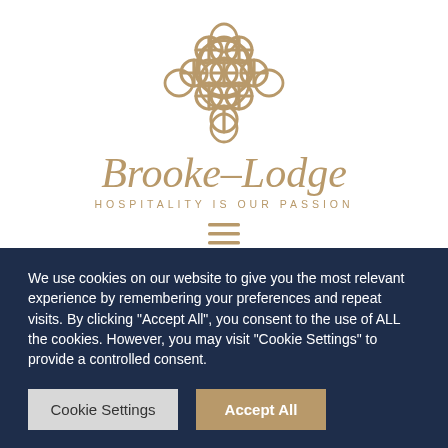[Figure (logo): Brooke-Lodge decorative gold lattice knot logo mark]
Brooke–Lodge
HOSPITALITY IS OUR PASSION
[Figure (other): Hamburger menu icon (three horizontal lines)]
We use cookies on our website to give you the most relevant experience by remembering your preferences and repeat visits. By clicking "Accept All", you consent to the use of ALL the cookies. However, you may visit "Cookie Settings" to provide a controlled consent.
Cookie Settings
Accept All